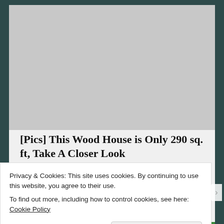[Figure (photo): Gray placeholder image area for an advertisement]
[Pics] This Wood House is Only 290 sq. ft, Take A Closer Look
TheDecorIdeas
Privacy & Cookies: This site uses cookies. By continuing to use this website, you agree to their use.
To find out more, including how to control cookies, see here: Cookie Policy
Close and accept